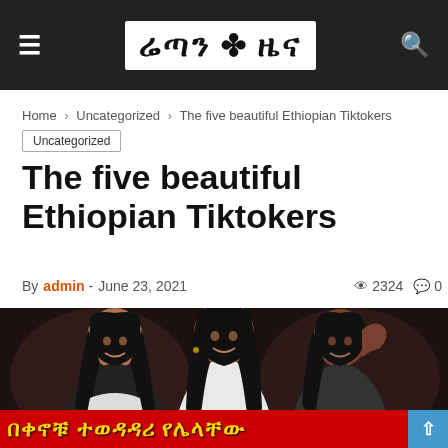≡  ሬጣን ✤ ዜና  🔍
Home > Uncategorized > The five beautiful Ethiopian Tiktokers
Uncategorized
The five beautiful Ethiopian Tiktokers
By admin - June 23, 2021   👁 2324  💬 0
[Figure (photo): Three beautiful Ethiopian women smiling, with a red banner at the bottom showing Amharic text in yellow/gold letters]